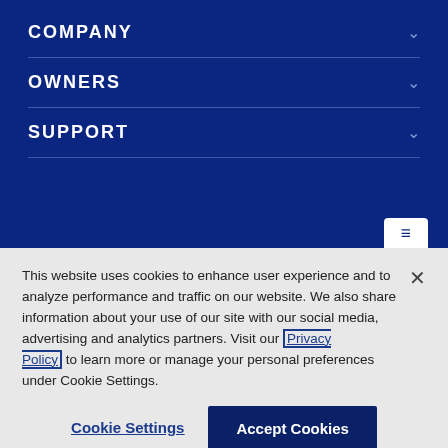COMPANY
OWNERS
SUPPORT
This website uses cookies to enhance user experience and to analyze performance and traffic on our website. We also share information about your use of our site with our social media, advertising and analytics partners. Visit our Privacy Policy to learn more or manage your personal preferences under Cookie Settings.
Cookie Settings
Accept Cookies